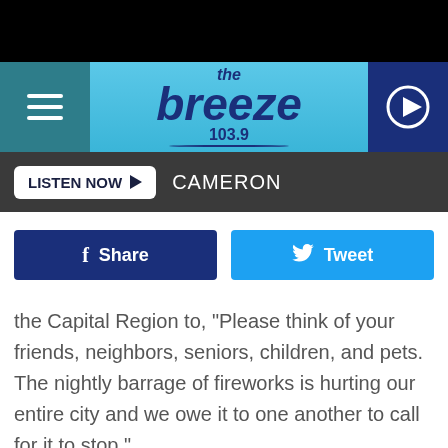[Figure (screenshot): The Breeze 103.9 radio station mobile app header with logo]
LISTEN NOW ▶   CAMERON
Share   Tweet
the Capital Region to, "Please think of your friends, neighbors, seniors, children, and pets. The nightly barrage of fireworks is hurting our entire city and we owe it to one another to call for it to stop."